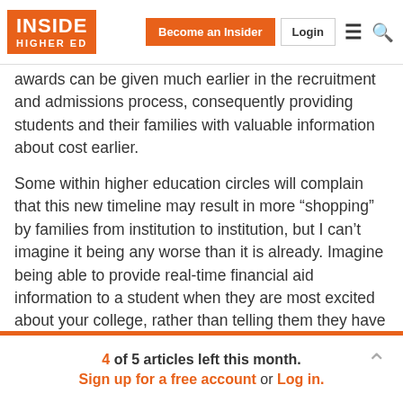Inside Higher Ed | Become an Insider | Login
awards can be given much earlier in the recruitment and admissions process, consequently providing students and their families with valuable information about cost earlier.
Some within higher education circles will complain that this new timeline may result in more “shopping” by families from institution to institution, but I can’t imagine it being any worse than it is already. Imagine being able to provide real-time financial aid information to a student when they are most excited about your college, rather than telling them they have to jump through a bunch of
4 of 5 articles left this month.
Sign up for a free account or Log in.